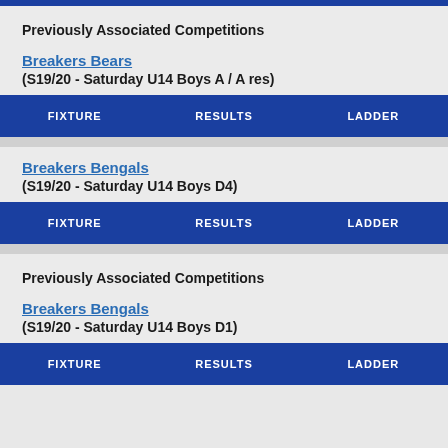Previously Associated Competitions
Breakers Bears
(S19/20 - Saturday U14 Boys A / A res)
| FIXTURE | RESULTS | LADDER |
| --- | --- | --- |
Breakers Bengals
(S19/20 - Saturday U14 Boys D4)
| FIXTURE | RESULTS | LADDER |
| --- | --- | --- |
Previously Associated Competitions
Breakers Bengals
(S19/20 - Saturday U14 Boys D1)
| FIXTURE | RESULTS | LADDER |
| --- | --- | --- |